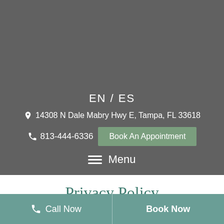EN  /  ES
📍 14308 N Dale Mabry Hwy E, Tampa, FL 33618
813-444-6336
Book An Appointment
☰ Menu
Privacy Policy
Call Now   Book Now